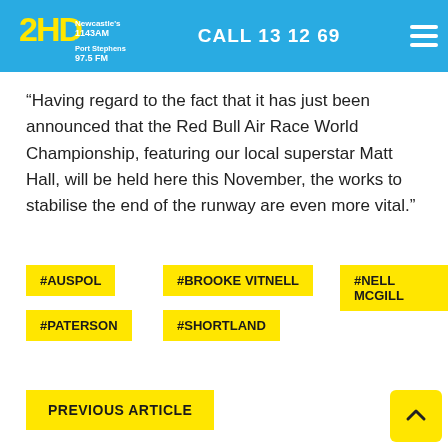2HD Newcastle 1143AM Port Stephens 97.5 FM — CALL 13 12 69
“Having regard to the fact that it has just been announced that the Red Bull Air Race World Championship, featuring our local superstar Matt Hall, will be held here this November, the works to stabilise the end of the runway are even more vital.”
#AUSPOL
#BROOKE VITNELL
#NELL MCGILL
#PATERSON
#SHORTLAND
PREVIOUS ARTICLE